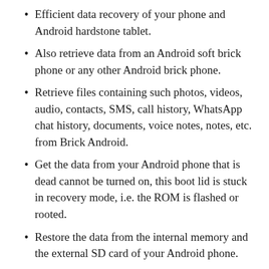Efficient data recovery of your phone and Android hardstone tablet.
Also retrieve data from an Android soft brick phone or any other Android brick phone.
Retrieve files containing such photos, videos, audio, contacts, SMS, call history, WhatsApp chat history, documents, voice notes, notes, etc. from Brick Android.
Get the data from your Android phone that is dead cannot be turned on, this boot lid is stuck in recovery mode, i.e. the ROM is flashed or rooted.
Restore the data from the internal memory and the external SD card of your Android phone.
Get data from all Android phones such as